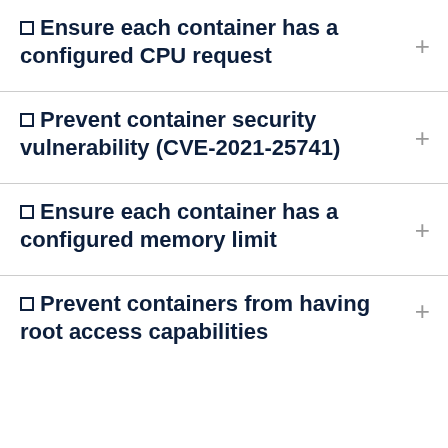Ensure each container has a configured CPU request
Prevent container security vulnerability (CVE-2021-25741)
Ensure each container has a configured memory limit
Prevent containers from having root access capabilities